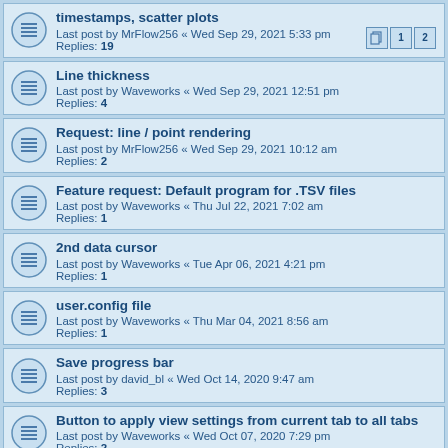timestamps, scatter plots
Last post by MrFlow256 « Wed Sep 29, 2021 5:33 pm
Replies: 19
Line thickness
Last post by Waveworks « Wed Sep 29, 2021 12:51 pm
Replies: 4
Request: line / point rendering
Last post by MrFlow256 « Wed Sep 29, 2021 10:12 am
Replies: 2
Feature request: Default program for .TSV files
Last post by Waveworks « Thu Jul 22, 2021 7:02 am
Replies: 1
2nd data cursor
Last post by Waveworks « Tue Apr 06, 2021 4:21 pm
Replies: 1
user.config file
Last post by Waveworks « Thu Mar 04, 2021 8:56 am
Replies: 1
Save progress bar
Last post by david_bl « Wed Oct 14, 2020 9:47 am
Replies: 3
Button to apply view settings from current tab to all tabs
Last post by Waveworks « Wed Oct 07, 2020 7:29 pm
Replies: 2
Filtering CSV
Last post by Waveworks « Thu Aug 27, 2020 2:51 pm
Replies: 3